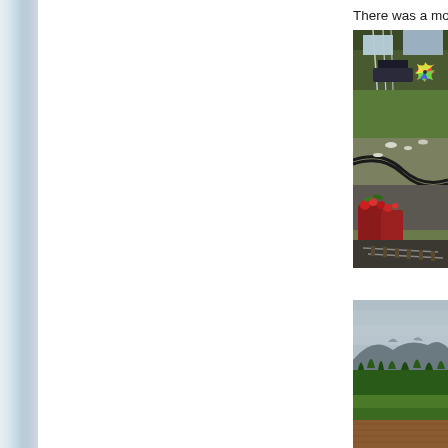There was a model
[Figure (photo): Outdoor model railway garden layout with winding tracks through rockery and plants, red flower pots in foreground, colorful pinwheel decoration visible]
[Figure (photo): Rural landscape with green fields in foreground, line of trees in middle distance, and mountains with cloudy sky in background]